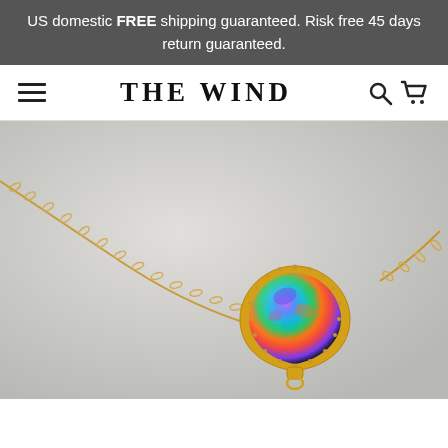US domestic FREE shipping guaranteed. Risk free 45 days return guaranteed.
[Figure (screenshot): Website navigation bar for 'The Wind' with hamburger menu icon on left, logo text 'THE WIND' centered, and search/cart icons on right]
[Figure (photo): Close-up photo of a gold chain necklace with a teardrop-shaped pendant featuring a colorful iridescent druzy or opal stone in a gold bezel setting, photographed on a light gray background]